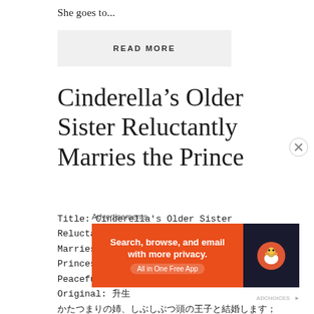She goes to...
READ MORE
Cinderella’s Older Sister Reluctantly Marries the Prince
Title: Cinderella's Older Sister Reluctantly Marries the Prince ~The Substitute Princess' Peaceful Life in the Detached Palace~ Original: 蛋生 かたつまりの姉、しぶしぶつ頭の王子と結婚します ※替えの姫君の離宮での平穏な日々※ Author: 蛋生さく Link:
Advertisements
[Figure (other): DuckDuckGo advertisement banner: Search, browse, and email with more privacy. All in One Free App]